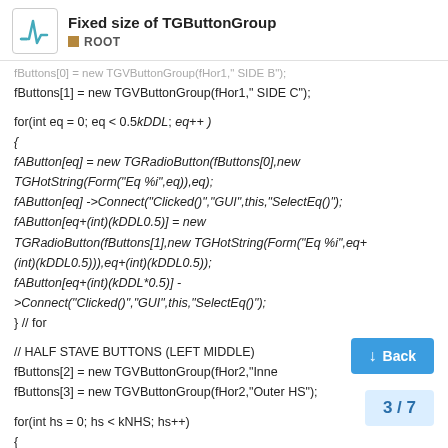Fixed size of TGButtonGroup / ROOT
fButtons[0] = new TGVButtonGroup(fHor1," SIDE B");
fButtons[1] = new TGVButtonGroup(fHor1," SIDE C");
for(int eq = 0; eq < 0.5kDDL; eq++ )
{
fAButton[eq] = new TGRadioButton(fButtons[0],new TGHotString(Form("Eq %i",eq)),eq);
fAButton[eq] ->Connect("Clicked()","GUI",this,"SelectEq()");
fAButton[eq+(int)(kDDL0.5)] = new TGRadioButton(fButtons[1],new TGHotString(Form("Eq %i",eq+(int)(kDDL0.5))),eq+(int)(kDDL0.5));
fAButton[eq+(int)(kDDL*0.5)] ->Connect("Clicked()","GUI",this,"SelectEq()");
} // for
// HALF STAVE BUTTONS (LEFT MIDDLE)
fButtons[2] = new TGVButtonGroup(fHor2,"Inne
fButtons[3] = new TGVButtonGroup(fHor2,"Outer HS");
for(int hs = 0; hs < kNHS; hs++)